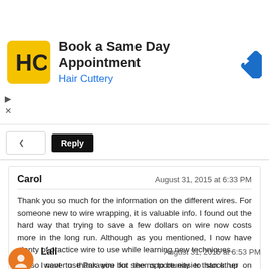[Figure (screenshot): Hair Cuttery advertisement banner with yellow logo, bold title 'Book a Same Day Appointment', subtitle 'Hair Cuttery' in blue, and a blue diamond-shaped arrow icon on the right.]
Reply
Carol
August 31, 2015 at 6:33 PM

Thank you so much for the information on the different wires. For someone new to wire wrapping, it is valuable info. I found out the hard way that trying to save a few dollars on wire now costs more in the long run. Although as you mentioned, I now have plenty of practice wire to use while learning new techniques.
I also want to thank you for the opportunity to stock up on Parawire with this giveaway.

Reply
Lali
August 31, 2015 at 6:53 PM

I never use Parawire but seems to be easier than other